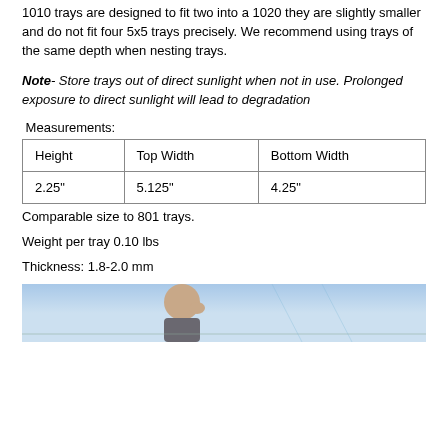1010 trays are designed to fit two into a 1020 they are slightly smaller and do not fit four 5x5 trays precisely. We recommend using trays of the same depth when nesting trays.
Note- Store trays out of direct sunlight when not in use. Prolonged exposure to direct sunlight will lead to degradation
Measurements:
| Height | Top Width | Bottom Width |
| --- | --- | --- |
| 2.25" | 5.125" | 4.25" |
Comparable size to 801 trays.
Weight per tray 0.10 lbs
Thickness: 1.8-2.0 mm
[Figure (photo): Photo of a person outdoors, partially cropped at the bottom of the page]